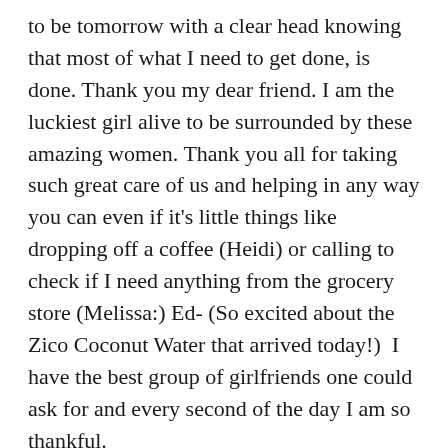to be tomorrow with a clear head knowing that most of what I need to get done, is done. Thank you my dear friend. I am the luckiest girl alive to be surrounded by these amazing women. Thank you all for taking such great care of us and helping in any way you can even if it's little things like dropping off a coffee (Heidi) or calling to check if I need anything from the grocery store (Melissa:) Ed- (So excited about the Zico Coconut Water that arrived today!)  I have the best group of girlfriends one could ask for and every second of the day I am so thankful.
I am ready for what the world has to throw at me tomorrow and can go into my day with a clear head. One day at a time, baby steps. Today, I sent my Mr. Sparkly Eyes a text and it said… "Ronan is going to get through this, I just know it. He is so strong." His response was, " You and Ro are BOTH going to get through this." He knows it, he feels it, he believes it. I